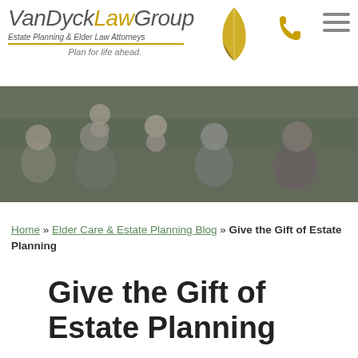[Figure (logo): VanDyck Law Group logo with leaf icon, tagline 'Estate Planning & Elder Law Attorneys', 'Plan for life ahead.']
[Figure (photo): Multi-generational family portrait with parents, grandparents, and children smiling outdoors, darkened overlay]
Home » Elder Care & Estate Planning Blog » Give the Gift of Estate Planning
Give the Gift of Estate Planning